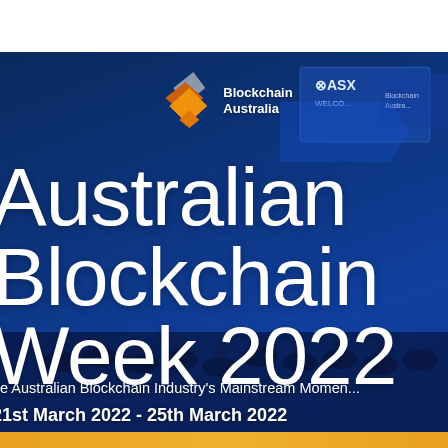[Figure (illustration): Australian Blockchain Week 2022 promotional banner. Dark blue background with audience silhouette. Top center: Blockchain Australia logo (stacked diamond shapes in orange and grey) with 'Blockchain Australia' text. Large white text reads 'Australian Blockchain Week 2022'. Subtitle: 'The Australian Blockchain Industry's Mainstream Moment'. Date: '21st March 2022 - 25th March 2022'. Gold/orange bar at bottom. ASX signage visible in background.]